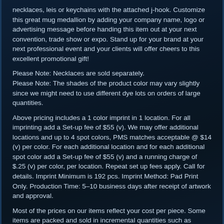necklaces, leis or keychains with the attached j-hook. Customize this great mug medallion by adding your company name, logo or advertising message before handing this item out at your next convention, trade show or expo. Stand up for your brand at your next professional event and your clients will offer cheers to this excellent promotional gift!
Please Note: Necklaces are sold separately.
Please Note: The shades of the product color may vary slightly since we might need to use different dye lots on orders of large quantities.
Above pricing includes a 1 color imprint in 1 location. For all imprinting add a Set-up fee of $55 (v). We may offer additional locations and up to 4 spot colors, PMS matches acceptable @ $14 (v) per color. For each additional location and for each additional spot color add a Set-up fee of $55 (v) and a running charge of $.25 (v) per color, per location. Repeat set up fees apply. Call for details. Imprint Minimum is 192 pcs. Imprint Method: Pad Print Only. Production Time: 5–10 business days after receipt of artwork and approval.
Most of the prices on our items reflect your cost per piece. Some items are packed and sold in incremental quantities such as dozen,